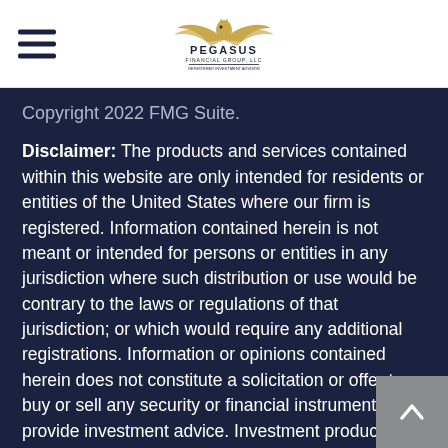Pegasus Financial Group, LLC
Copyright 2022 FMG Suite.
Disclaimer: The products and services contained within this website are only intended for residents or entities of the United States where our firm is registered. Information contained herein is not meant or intended for persons or entities in any jurisdiction where such distribution or use would be contrary to the laws or regulations of that jurisdiction; or which would require any additional registrations. Information or opinions contained herein does not constitute a solicitation or offer to buy or sell any security or financial instrument or provide investment advice. Investment products and services are available to residents of CA, DC, DE, FL, HI, IL, MD, MS, NC, NJ, NM, PA, RI, and VA. Advisory Services & Securities offered through investment advisor representatives of United Planners' Financial Services of